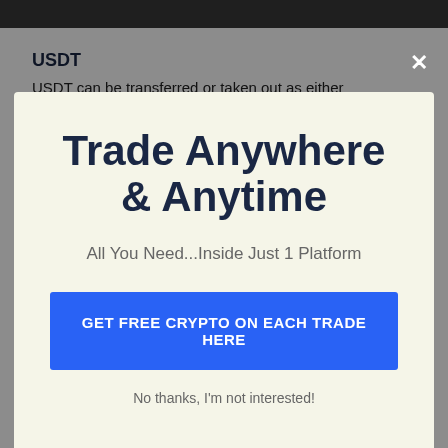USDT
USDT can be transferred or taken out as either
Trade Anywhere & Anytime
All You Need...Inside Just 1 Platform
GET FREE CRYPTO ON EACH TRADE HERE
No thanks, I'm not interested!
there is nothing to differentiate the symbols. If you transfer to an incorrect FTX address, we can attempt to recuperate it, but